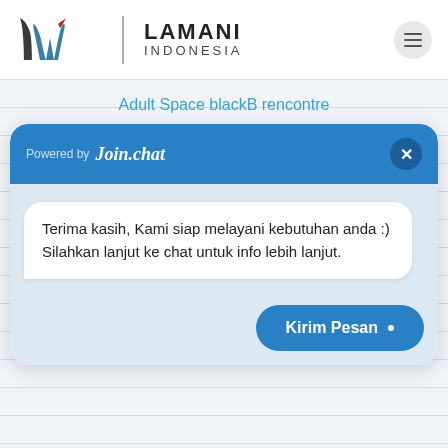[Figure (logo): Lamani Indonesia logo with stylized LW lettermark in dark gray and teal with red accent, and text LAMANI INDONESIA]
Adult Space blackB rencontre
[Figure (screenshot): Join.chat widget header with 'Powered by Join.chat' text and close button]
Terima kasih, Kami siap melayani kebutuhan anda :) Silahkan lanjut ke chat untuk info lebih lanjut.
Kirim Pesan •